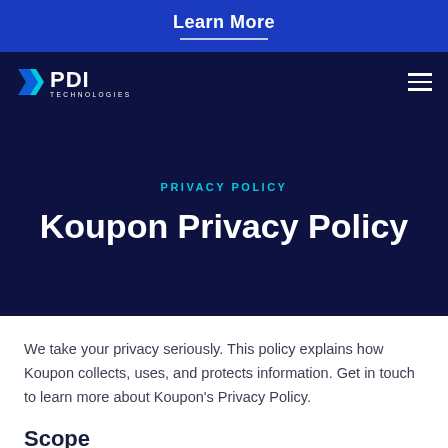Learn More
[Figure (logo): PDI Technologies logo — white arrow icon and 'PDI TECHNOLOGIES' wordmark on dark navy background, with hamburger menu icon on right]
PRIVACY POLICY
Koupon Privacy Policy
We take your privacy seriously. This policy explains how Koupon collects, uses, and protects information. Get in touch to learn more about Koupon's Privacy Policy.
Scope